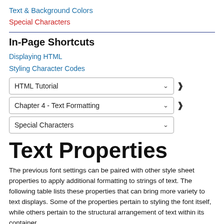Text & Background Colors
Special Characters
In-Page Shortcuts
Displaying HTML
Styling Character Codes
HTML Tutorial
Chapter 4 - Text Formatting
Special Characters
Text Properties
The previous font settings can be paired with other style sheet properties to apply additional formatting to strings of text. The following table lists these properties that can bring more variety to text displays. Some of the properties pertain to styling the font itself, while others pertain to the structural arrangement of text within its container.